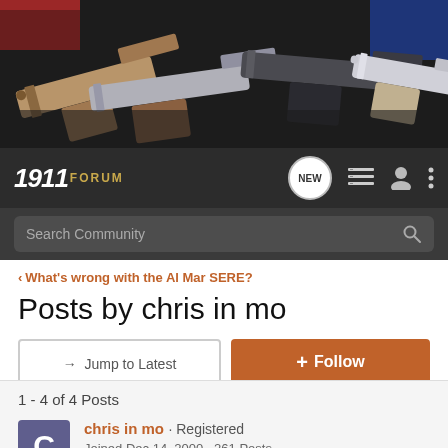[Figure (photo): Banner image showing multiple 1911-style handguns arranged on a dark surface with a flag in the background]
1911 FORUM — navigation bar with NEW button, menu icon, user icon, and more options icon
Search Community
< What's wrong with the Al Mar SERE?
Posts by chris in mo
→ Jump to Latest
+ Follow
1 - 4 of 4 Posts
chris in mo · Registered
Joined Dec 14, 2000 · 261 Posts